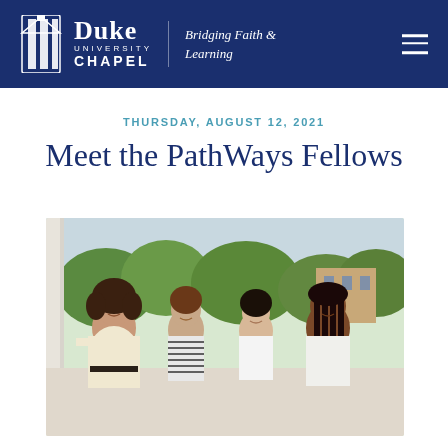Duke University Chapel — Bridging Faith & Learning
THURSDAY, AUGUST 12, 2021
Meet the PathWays Fellows
[Figure (photo): Four young women smiling and standing together outdoors under a covered porch area with trees and a building visible in the background. They are dressed in casual summer attire.]